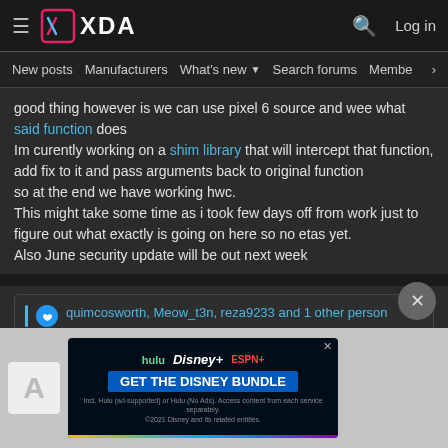[Figure (screenshot): XDA Developers forum page header with hamburger menu, XDA logo, search icon, and Log in link]
New posts  Manufacturers  What's new  Search forums  Membe >
good thing however is we can use pixel 6 source and wee what said function does
Im curently working on a shim library that will intercept that function, add fix to it and pass arguments back to original function
so at the end we have working hwc.
This might take some time as i took few days off from work just to figure out what exactly is going on here so no etas yet.
Also June security update will be out next week
quimcosworth, Meow_t3n, reza9233 and 1 other person
[Figure (infographic): Disney Bundle advertisement showing Hulu, Disney+, ESPN+ logos with GET THE DISNEY BUNDLE CTA button]